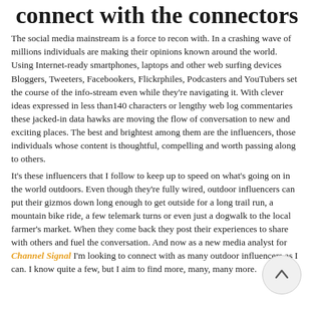connect with the connectors
The social media mainstream is a force to recon with. In a crashing wave of millions individuals are making their opinions known around the world.  Using Internet-ready smartphones, laptops and other web surfing devices Bloggers, Tweeters, Facebookers, Flickrphiles, Podcasters and YouTubers set the course of the info-stream even while they're navigating it. With clever ideas expressed in less than140 characters or lengthy web log commentaries these jacked-in data hawks are moving the flow of conversation to new and exciting places. The best and brightest among them are the influencers, those individuals whose content is thoughtful, compelling and worth passing along to others.
It's these influencers that I follow to keep up to speed on what's going on in the world outdoors. Even though they're fully wired, outdoor influencers can put their gizmos down long enough to get outside for a long trail run, a mountain bike ride, a few telemark turns or even just a dogwalk to the local farmer's market. When they come back they post their experiences to share with others and fuel the conversation. And now as a new media analyst for Channel Signal I'm looking to connect with as many outdoor influencers as I can. I know quite a few, but I aim to find more, many, many more.